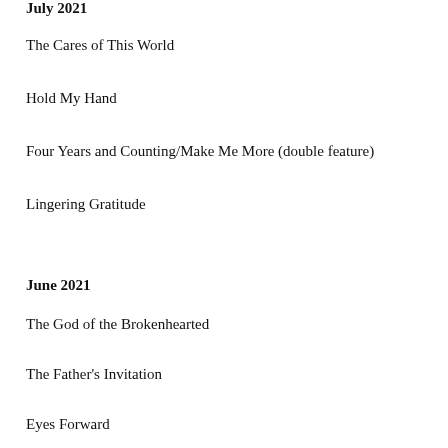July 2021
The Cares of This World
Hold My Hand
Four Years and Counting/Make Me More (double feature)
Lingering Gratitude
June 2021
The God of the Brokenhearted
The Father's Invitation
Eyes Forward